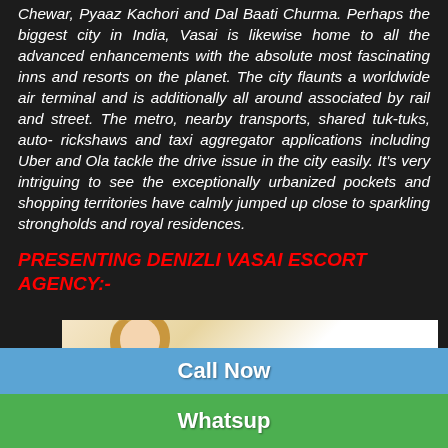Chewar, Pyaaz Kachori and Dal Baati Churma. Perhaps the biggest city in India, Vasai is likewise home to all the advanced enhancements with the absolute most fascinating inns and resorts on the planet. The city flaunts a worldwide air terminal and is additionally all around associated by rail and street. The metro, nearby transports, shared tuk-tuks, auto-rickshaws and taxi aggregator applications including Uber and Ola tackle the drive issue in the city easily. It's very intriguing to see the exceptionally urbanized pockets and shopping territories have calmly jumped up close to sparkling strongholds and royal residences.
PRESENTING DENIZLI VASAI ESCORT AGENCY:-
[Figure (photo): A blonde woman in white, partially visible at the bottom of a white-background photo area]
Call Now
Whatsup